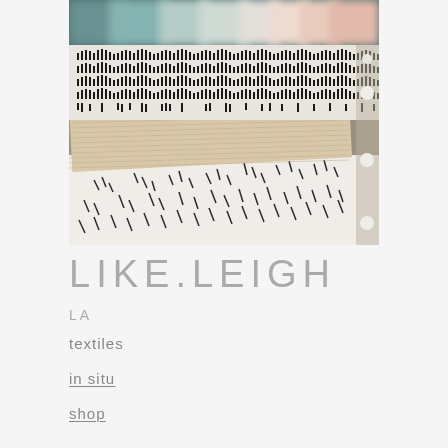[Figure (photo): Blurred colorful abstract background photo at top — muted teals, greens, pinks, and warm tones out of focus]
[Figure (photo): Close-up photo of stacked textile/fabric samples with geometric stripe and dash patterns in black, white, and tan/beige. Fabrics are layered showing a dark dashed wave pattern on top, a tan stripe pattern in middle, and white with scattered dash marks on bottom. A wooden dowel or rod is visible on the right edge.]
LIKE.LEIGH
LA
textiles
in situ
shop